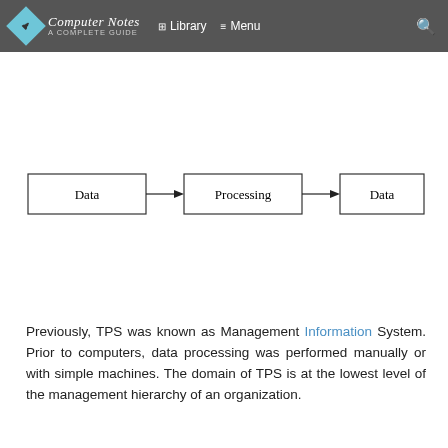Computer Notes – A Complete Guide | Library | Menu
[Figure (flowchart): Three-box flowchart: Data → Processing → Data, connected by arrows]
Previously, TPS was known as Management Information System. Prior to computers, data processing was performed manually or with simple machines. The domain of TPS is at the lowest level of the management hierarchy of an organization.